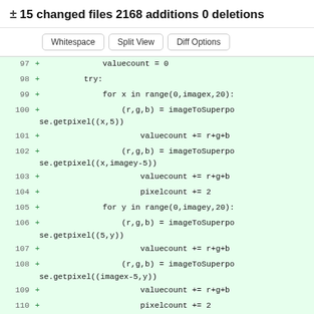± 15 changed files 2168 additions 0 deletions
[Figure (screenshot): Three buttons: Whitespace, Split View, Diff Options]
97 + valuecount = 0
98 + try:
99 + for x in range(0,imagex,20):
100 + (r,g,b) = imageToSuperpose.getpixel((x,5))
101 + valuecount += r+g+b
102 + (r,g,b) = imageToSuperpose.getpixel((x,imagey-5))
103 + valuecount += r+g+b
104 + pixelcount += 2
105 + for y in range(0,imagey,20):
106 + (r,g,b) = imageToSuperpose.getpixel((5,y))
107 + valuecount += r+g+b
108 + (r,g,b) = imageToSuperpose.getpixel((imagex-5,y))
109 + valuecount += r+g+b
110 + pixelcount += 2
111 ...